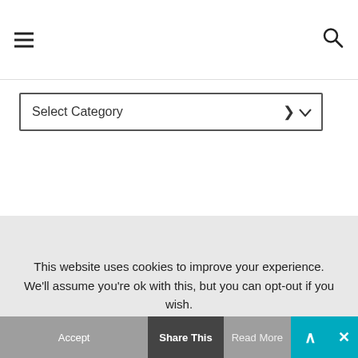Navigation bar with hamburger menu icon and search icon
Select Category (dropdown)
CLICK ON ME
This website uses cookies to improve your experience. We'll assume you're ok with this, but you can opt-out if you wish.
Accept  Share This  Read More  ↑  ✕